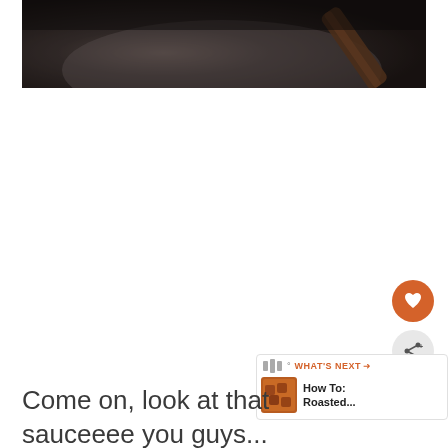[Figure (photo): Close-up photo of a dark sauce or food item on a dark pan/surface, with a wooden spoon or utensil visible in the upper right corner. Background is dark grey/brown.]
[Figure (infographic): UI overlay elements: heart (favorite) button in orange circle, share button with network icon in grey circle, and a 'What's Next' widget showing a roasted food thumbnail with text 'How To: Roasted...']
Come on, look at that sauceeee you guys... Try this and show me – tag me on